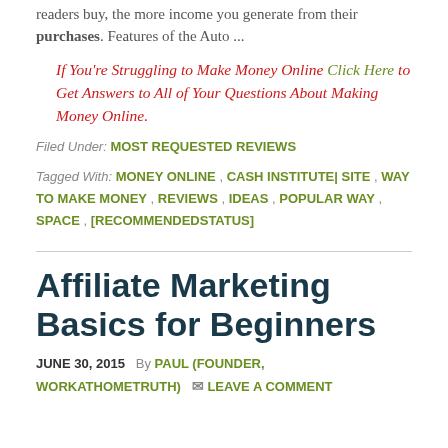readers buy, the more income you generate from their purchases. Features of the Auto ...
If You're Struggling to Make Money Online Click Here to Get Answers to All of Your Questions About Making Money Online.
Filed Under: MOST REQUESTED REVIEWS
Tagged With: MONEY ONLINE , CASH INSTITUTE| SITE , WAY TO MAKE MONEY , REVIEWS , IDEAS , POPULAR WAY , SPACE , [RECOMMENDEDSTATUS]
Affiliate Marketing Basics for Beginners
JUNE 30, 2015  By  PAUL (FOUNDER, WORKATHOMETRUTH)   LEAVE A COMMENT